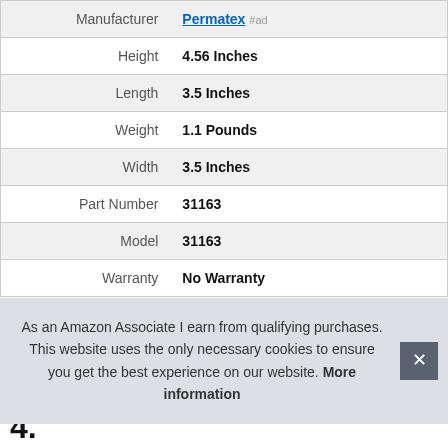| Attribute | Value |
| --- | --- |
| Manufacturer | Permatex #ad |
| Height | 4.56 Inches |
| Length | 3.5 Inches |
| Weight | 1.1 Pounds |
| Width | 3.5 Inches |
| Part Number | 31163 |
| Model | 31163 |
| Warranty | No Warranty |
More information #ad
As an Amazon Associate I earn from qualifying purchases. This website uses the only necessary cookies to ensure you get the best experience on our website. More information
4.